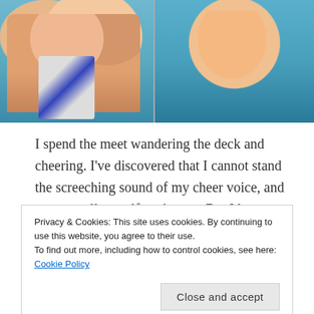[Figure (photo): Two boys at a swimming pool, shirtless, smiling at camera. Left photo shows two boys together, one holding a towel with blue stripe. Right photo shows a boy with mouth wide open laughing, with blue pool/background behind.]
I spend the meet wandering the deck and cheering. I've discovered that I cannot stand the screeching sound of my cheer voice, and want to tell myself to shut up. But I love cheering on my kids, so I don't.
[Figure (photo): People standing at the edge of an indoor swimming pool, feet and lower legs visible, blue pool water below.]
Privacy & Cookies: This site uses cookies. By continuing to use this website, you agree to their use.
To find out more, including how to control cookies, see here: Cookie Policy
Close and accept